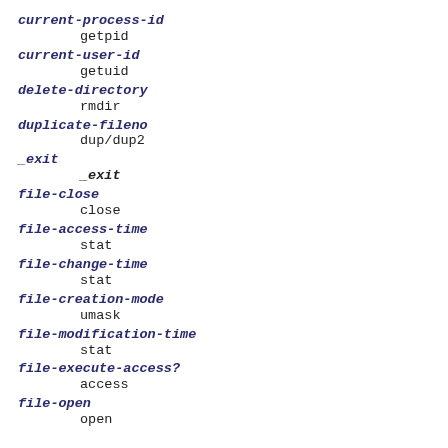current-process-id
    getpid
current-user-id
    getuid
delete-directory
    rmdir
duplicate-fileno
    dup/dup2
_exit
    _exit
file-close
    close
file-access-time
    stat
file-change-time
    stat
file-creation-mode
    umask
file-modification-time
    stat
file-execute-access?
    access
file-open
    open